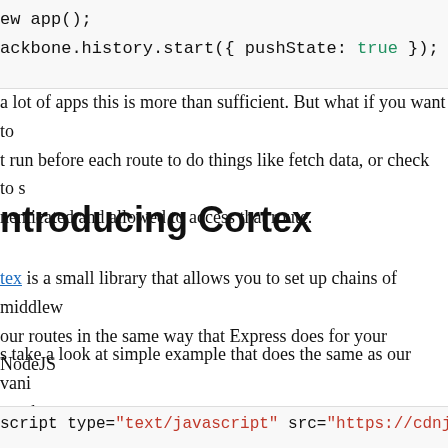[Figure (screenshot): Code snippet showing: ew app(); and ackbone.history.start({ pushState: true });]
a lot of apps this is more than sufficient. But what if you want to run before each route to do things like fetch data, or check to see if the user is authenticated and allowed to access that route.
Introducing Cortex
Cortex is a small library that allows you to set up chains of middleware for your routes in the same way that Express does for your NodeJS routes.
s take a look at simple example that does the same as our vanilla router above.
[Figure (screenshot): Code snippet showing: script type="text/javascript" src="https://cdnjs..."]